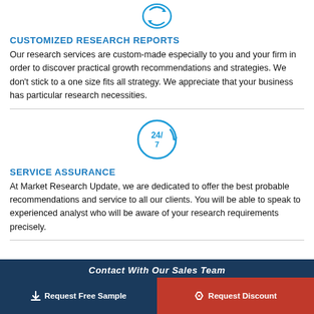[Figure (illustration): Circular icon with arrows suggesting customization or refresh, in blue outline style]
CUSTOMIZED RESEARCH REPORTS
Our research services are custom-made especially to you and your firm in order to discover practical growth recommendations and strategies. We don't stick to a one size fits all strategy. We appreciate that your business has particular research necessities.
[Figure (illustration): 24/7 circular clock/service icon in blue outline style]
SERVICE ASSURANCE
At Market Research Update, we are dedicated to offer the best probable recommendations and service to all our clients. You will be able to speak to experienced analyst who will be aware of your research requirements precisely.
Contact With Our Sales Team
Request Free Sample
Request Discount